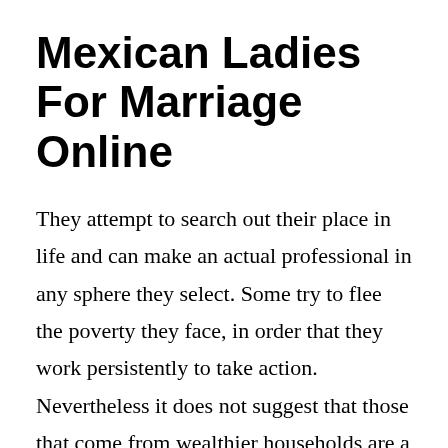Mexican Ladies For Marriage Online
They attempt to search out their place in life and can make an actual professional in any sphere they select. Some try to flee the poverty they face, in order that they work persistently to take action. Nevertheless it does not suggest that those that come from wealthier households are a lot less persistent. When she starts a household, a gorgeous Latin girls ill try and take care of each factor